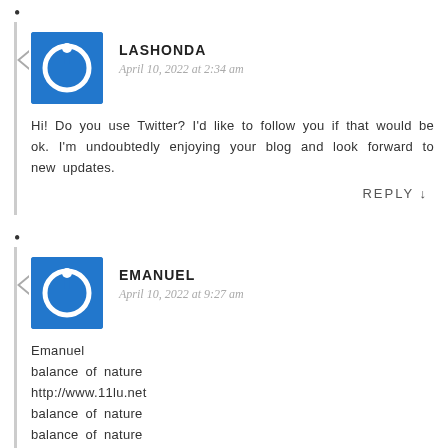LASHONDA
April 10, 2022 at 2:34 am
Hi! Do you use Twitter? I'd like to follow you if that would be ok. I'm undoubtedly enjoying your blog and look forward to new updates.
REPLY ↓
EMANUEL
April 10, 2022 at 9:27 am
Emanuel
balance of nature
http://www.11lu.net
balance of nature
balance of nature
REPLY ↓